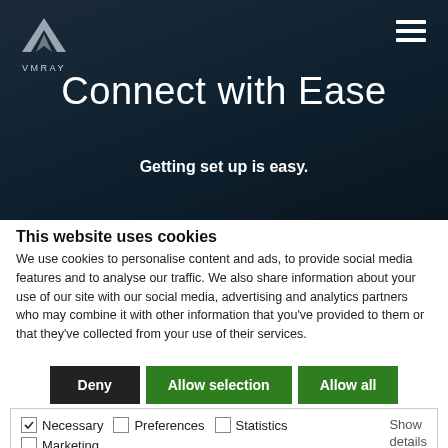[Figure (logo): VMRay logo — stylized M shape in silver/grey with VMRAY text below, on dark navy background, hamburger menu icon top right]
Connect with Ease
Getting set up is easy.
This website uses cookies
We use cookies to personalise content and ads, to provide social media features and to analyse our traffic. We also share information about your use of our site with our social media, advertising and analytics partners who may combine it with other information that you've provided to them or that they've collected from your use of their services.
Deny | Allow selection | Allow all
Necessary  Preferences  Statistics  Marketing  Show details